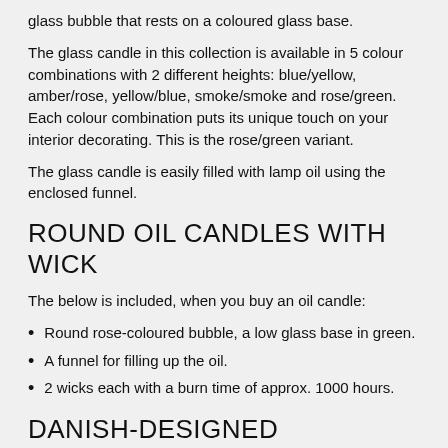glass bubble that rests on a coloured glass base.
The glass candle in this collection is available in 5 colour combinations with 2 different heights: blue/yellow, amber/rose, yellow/blue, smoke/smoke and rose/green. Each colour combination puts its unique touch on your interior decorating. This is the rose/green variant.
The glass candle is easily filled with lamp oil using the enclosed funnel.
ROUND OIL CANDLES WITH WICK
The below is included, when you buy an oil candle:
Round rose-coloured bubble, a low glass base in green.
A funnel for filling up the oil.
2 wicks each with a burn time of approx. 1000 hours.
DANISH-DESIGNED CANDLESTICK MADE